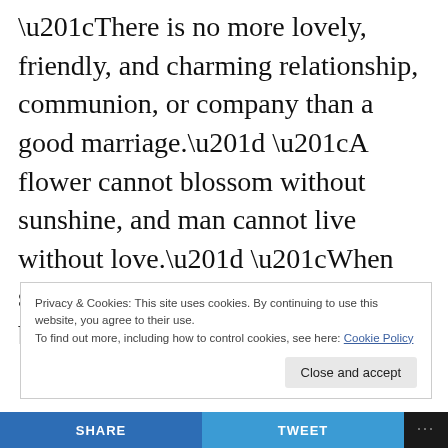“There is no more lovely, friendly, and charming relationship, communion, or company than a good marriage.” “A flower cannot blossom without sunshine, and man cannot live without love.” “When someone shows you who they are, believe them the first time.”
Privacy & Cookies: This site uses cookies. By continuing to use this website, you agree to their use.
To find out more, including how to control cookies, see here: Cookie Policy
SHARE   TWEET   ...